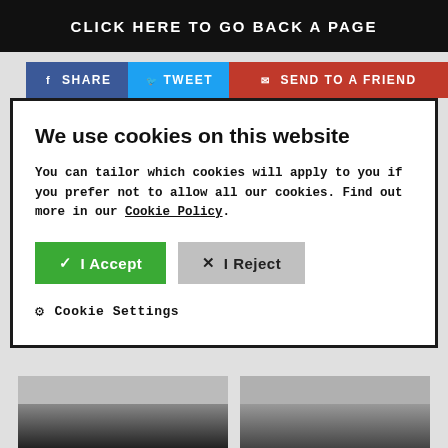CLICK HERE TO GO BACK A PAGE
SHARE   TWEET   SEND TO A FRIEND
We use cookies on this website
You can tailor which cookies will apply to you if you prefer not to allow all our cookies. Find out more in our Cookie Policy.
✓ I Accept   ✕ I Reject
⚙ Cookie Settings
[Figure (photo): Two partially visible photo thumbnails at the bottom of the page]